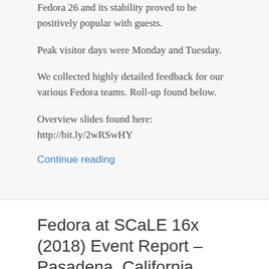Fedora 26 and its stability proved to be positively popular with guests.
Peak visitor days were Monday and Tuesday.
We collected highly detailed feedback for our various Fedora teams. Roll-up found below.
Overview slides found here: http://bit.ly/2wRSwHY
Continue reading
Fedora at SCaLE 16x (2018) Event Report – Pasadena, California
MAY 3, 2018 / COMMENTS OFF
[Figure (photo): Exterior photograph of a building with blue glass windows and facade, partially visible at the bottom of the page.]